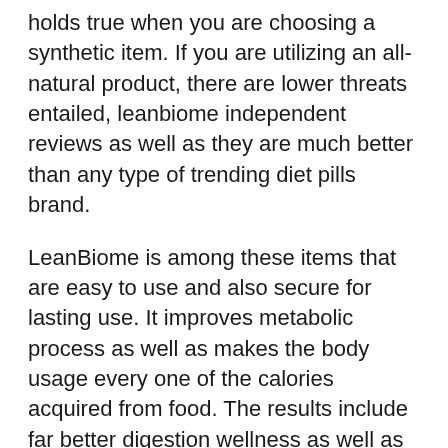holds true when you are choosing a synthetic item. If you are utilizing an all-natural product, there are lower threats entailed, leanbiome independent reviews as well as they are much better than any type of trending diet pills brand.
LeanBiome is among these items that are easy to use and also secure for lasting use. It improves metabolic process as well as makes the body usage every one of the calories acquired from food. The results include far better digestion wellness as well as resistance, which displays in the type of enhanced lifestyle.
ONLINE PROMO: Go Here to Purchase LeanBiome at the Lowest Rate Today